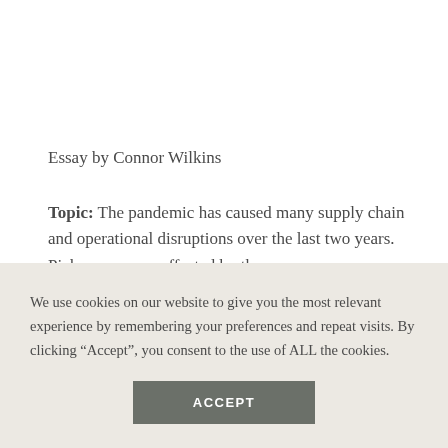Essay by Connor Wilkins
Topic: The pandemic has caused many supply chain and operational disruptions over the last two years. Pick a company affected by the
We use cookies on our website to give you the most relevant experience by remembering your preferences and repeat visits. By clicking “Accept”, you consent to the use of ALL the cookies.
ACCEPT